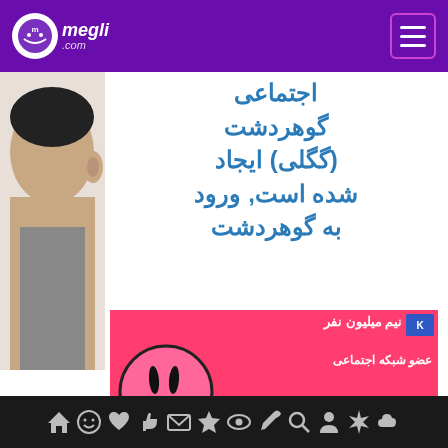megli.com
اجتماعی گوهردشت (گگلی) ایجاد شده است, ورود به گوهردشت
[Figure (illustration): Side profile of a person's head/face on the left side]
[Figure (infographic): Pink banner ad: نیم میلیون نفر عضو شبکه اجتماعی گوهردشت - چت کنید - وبلاگ بنویسید, with a cartoon smiling face]
Navigation icon bar with home, emoji, heart, like, mail, star, eye, pen, search, person, star, cloud icons